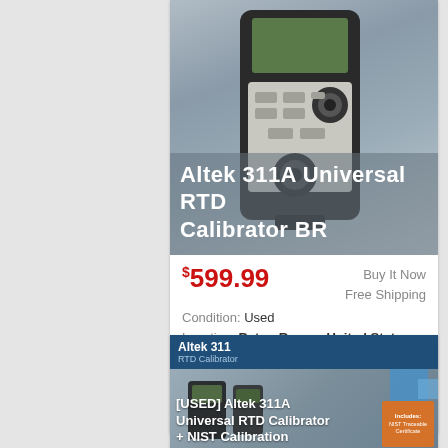[Figure (photo): Photo of Altek 311A Universal RTD Calibrator handheld device with overlay title text]
Altek 311A Universal RTD Calibrator BR
$599.99
Buy It Now
Free Shipping
Condition: Used
Location: Baton Rouge, United States
Manufacturer: Altek. Model: 311A. JM Test Systems complies with ANSI/NCSL Z-540 and ISO 10012-1.
[Figure (photo): Second listing card for Used Altek 311A Universal RTD Calibrator + NIST Calibration, with dark blue header and orange badge]
[USED] Altek 311A Universal RTD Calibrator + NIST Calibration